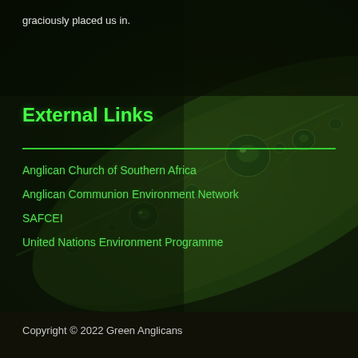graciously placed us in.
External Links
Anglican Church of Southern Africa
Anglican Communion Environment Network
SAFCEI
United Nations Environment Programme
Copyright © 2022 Green Anglicans